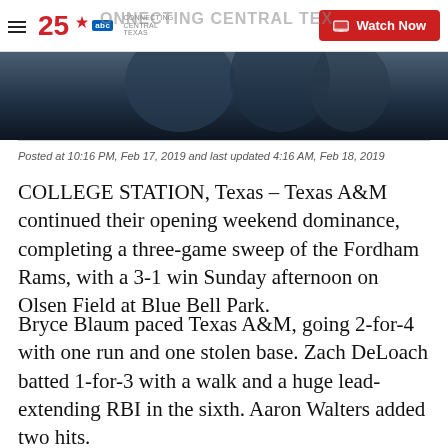25 ABC Connecting Central Texas — Watch Now
[Figure (photo): Dark blue-toned photo strip of people, partially cropped]
Posted at 10:16 PM, Feb 17, 2019 and last updated 4:16 AM, Feb 18, 2019
COLLEGE STATION, Texas – Texas A&M continued their opening weekend dominance, completing a three-game sweep of the Fordham Rams, with a 3-1 win Sunday afternoon on Olsen Field at Blue Bell Park.
Bryce Blaum paced Texas A&M, going 2-for-4 with one run and one stolen base. Zach DeLoach batted 1-for-3 with a walk and a huge lead-extending RBI in the sixth. Aaron Walters added two hits.